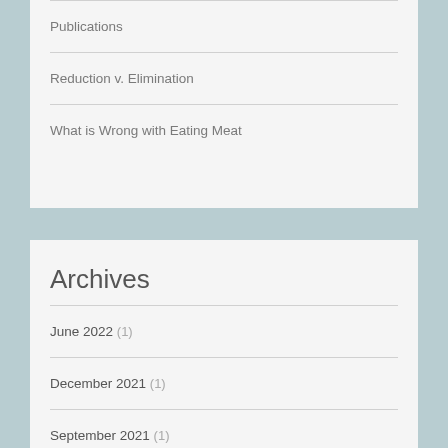Publications
Reduction v. Elimination
What is Wrong with Eating Meat
Archives
June 2022 (1)
December 2021 (1)
September 2021 (1)
July 2021 (5)